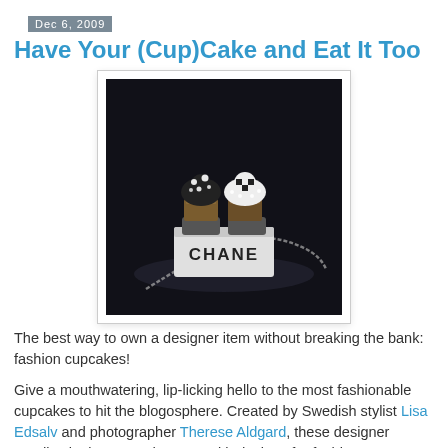Dec 6, 2009
Have Your (Cup)Cake and Eat It Too
[Figure (photo): Two black and white decorated cupcakes displayed on a white box labeled 'CHANEL' with a pearl necklace, on a dark background.]
The best way to own a designer item without breaking the bank: fashion cupcakes!
Give a mouthwatering, lip-licking hello to the most fashionable cupcakes to hit the blogosphere. Created by Swedish stylist Lisa Edsalv and photographer Therese Aldgard, these designer goodies look too good to eat. With designs for fashion powerhouses Chanel, Christian